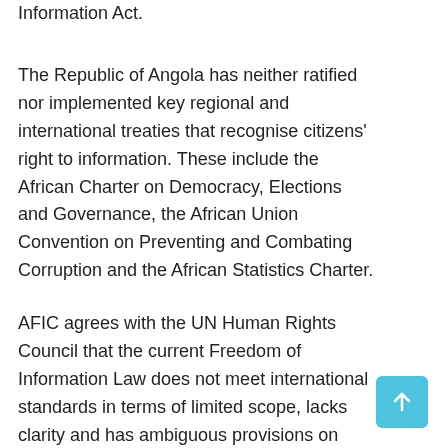Information Act.
The Republic of Angola has neither ratified nor implemented key regional and international treaties that recognise citizens' right to information. These include the African Charter on Democracy, Elections and Governance, the African Union Convention on Preventing and Combating Corruption and the African Statistics Charter.
AFIC agrees with the UN Human Rights Council that the current Freedom of Information Law does not meet international standards in terms of limited scope, lacks clarity and has ambiguous provisions on process, language and accessibility, wide exemptions, lack of whistle-blower